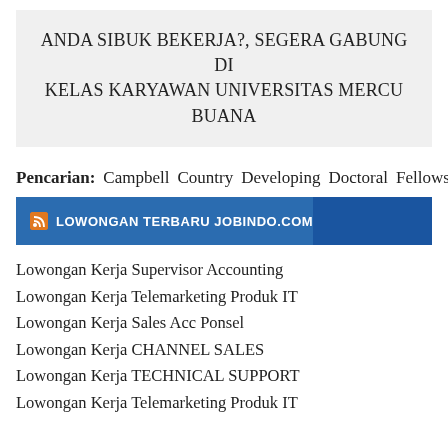ANDA SIBUK BEKERJA?, SEGERA GABUNG DI KELAS KARYAWAN UNIVERSITAS MERCU BUANA
Pencarian: Campbell Country Developing Doctoral Fellowship Women
[Figure (other): RSS feed banner bar with label 'LOWONGAN TERBARU JOBINDO.COM']
Lowongan Kerja Supervisor Accounting
Lowongan Kerja Telemarketing Produk IT
Lowongan Kerja Sales Acc Ponsel
Lowongan Kerja CHANNEL SALES
Lowongan Kerja TECHNICAL SUPPORT
Lowongan Kerja Telemarketing Produk IT